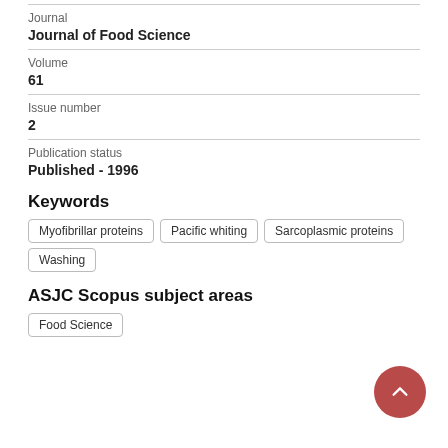Journal
Journal of Food Science
Volume
61
Issue number
2
Publication status
Published - 1996
Keywords
Myofibrillar proteins
Pacific whiting
Sarcoplasmic proteins
Washing
ASJC Scopus subject areas
Food Science